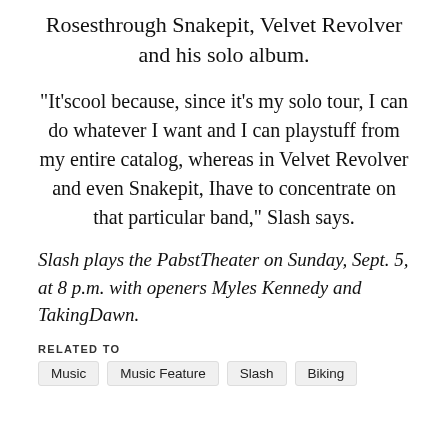Rosesthrough Snakepit, Velvet Revolver and his solo album.
“It’scool because, since it’s my solo tour, I can do whatever I want and I can playstuff from my entire catalog, whereas in Velvet Revolver and even Snakepit, Ihave to concentrate on that particular band,” Slash says.
Slash plays the PabstTheater on Sunday, Sept. 5, at 8 p.m. with openers Myles Kennedy and TakingDawn.
RELATED TO
Music
Music Feature
Slash
Biking